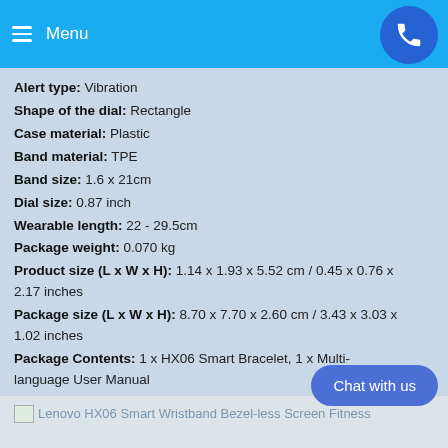Menu
Alert type: Vibration
Shape of the dial: Rectangle
Case material: Plastic
Band material: TPE
Band size: 1.6 x 21cm
Dial size: 0.87 inch
Wearable length: 22 - 29.5cm
Package weight: 0.070 kg
Product size (L x W x H): 1.14 x 1.93 x 5.52 cm / 0.45 x 0.76 x 2.17 inches
Package size (L x W x H): 8.70 x 7.70 x 2.60 cm / 3.43 x 3.03 x 1.02 inches
Package Contents: 1 x HX06 Smart Bracelet, 1 x Multi-language User Manual
[Figure (screenshot): Thumbnail image: Lenovo HX06 Smart Wristband Bezel-less Screen Fitness Tracker]
[Figure (screenshot): Thumbnail image: Lenovo HX06 Smart Wristband Bezel-less Screen Fitness Tracker]
[Figure (screenshot): Thumbnail image: Lenovo HX06 Smart Wristband Bezel-less Screen Fitness Tracker]